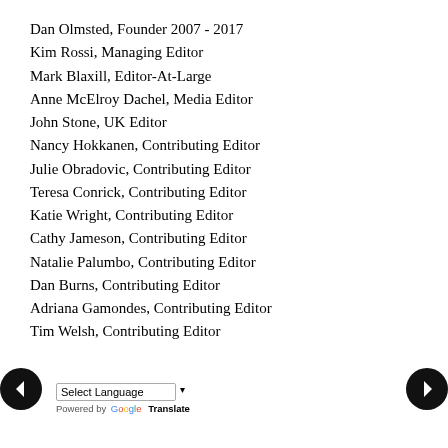Dan Olmsted, Founder 2007 - 2017
Kim Rossi, Managing Editor
Mark Blaxill, Editor-At-Large
Anne McElroy Dachel, Media Editor
John Stone, UK Editor
Nancy Hokkanen, Contributing Editor
Julie Obradovic, Contributing Editor
Teresa Conrick, Contributing Editor
Katie Wright, Contributing Editor
Cathy Jameson, Contributing Editor
Natalie Palumbo, Contributing Editor
Dan Burns, Contributing Editor
Adriana Gamondes, Contributing Editor
Tim Welsh, Contributing Editor
← Select Language ▾  Powered by Google Translate →